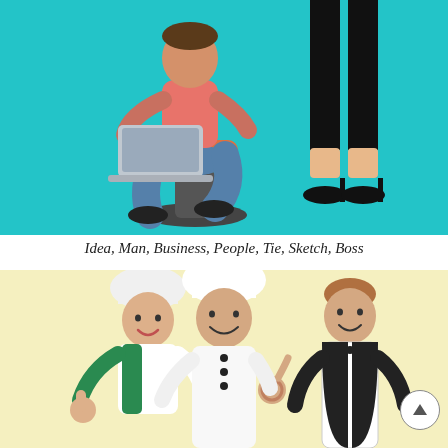[Figure (illustration): Illustration on teal/turquoise background showing a person sitting on a chair using a laptop, and another figure standing with black pants and high heels visible from the waist down.]
Idea, Man, Business, People, Tie, Sketch, Boss
[Figure (illustration): Illustration on pale yellow background showing three figures: two chefs wearing white toques (one making an OK gesture) and a man in a waiter's vest and bow tie.]